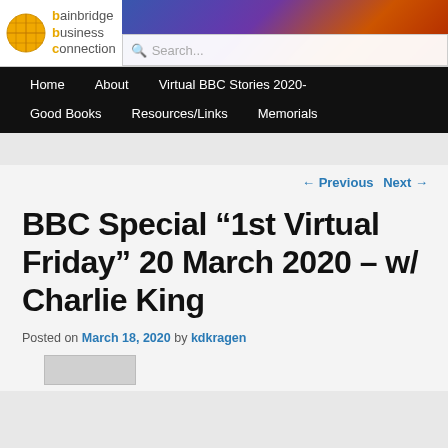bainbridge business connection
Home | About | Virtual BBC Stories 2020- | Good Books | Resources/Links | Memorials
← Previous   Next →
BBC Special “1st Virtual Friday” 20 March 2020 – w/ Charlie King
Posted on March 18, 2020 by kdkragen